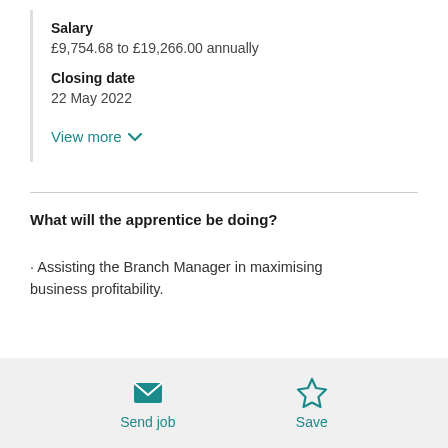Salary
£9,754.68 to £19,266.00 annually
Closing date
22 May 2022
View more
What will the apprentice be doing?
· Assisting the Branch Manager in maximising business profitability.
Send job | Save